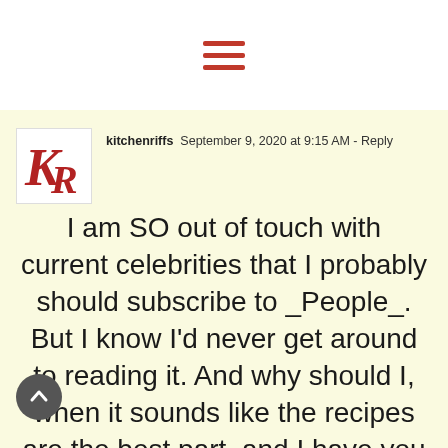[Figure (other): Hamburger menu icon with three red horizontal lines]
[Figure (logo): KR logo in red cursive letters on white square background]
kitchenriffs September 9, 2020 at 9:15 AM - Reply
I am SO out of touch with current celebrities that I probably should subscribe to _People_. But I know I'd never get around to reading it. And why should I, when it sounds like the recipes are the best part, and I have you to curate them! :-) This does look really good – thanks.